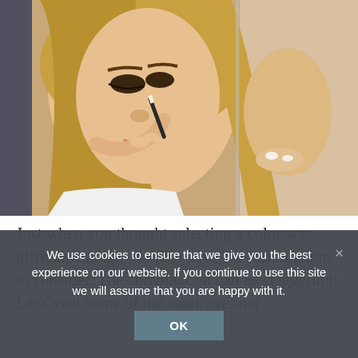[Figure (photo): A young woman with long blonde hair applying eyeliner with a pencil near a mirror, wearing a white top, warm indoor lighting.]
Just when you thought selecting a color was difficult enough, we also have the formulations to consider. The combination can be staggering! Let's visit some of the basic eyeliner
We use cookies to ensure that we give you the best experience on our website. If you continue to use this site we will assume that you are happy with it.
OK